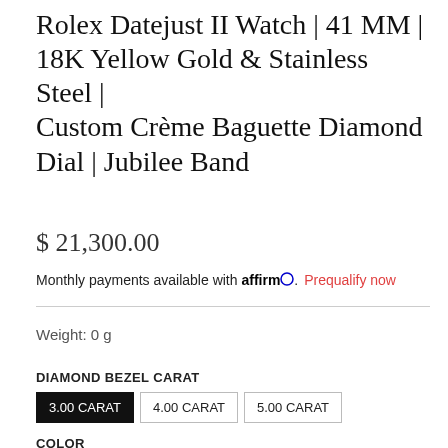Rolex Datejust II Watch | 41 MM | 18K Yellow Gold & Stainless Steel | Custom Crème Baguette Diamond Dial | Jubilee Band
$ 21,300.00
Monthly payments available with affirm. Prequalify now
Weight: 0 g
DIAMOND BEZEL CARAT
3.00 CARAT (selected)
4.00 CARAT
5.00 CARAT
COLOR
WHITE (selected)